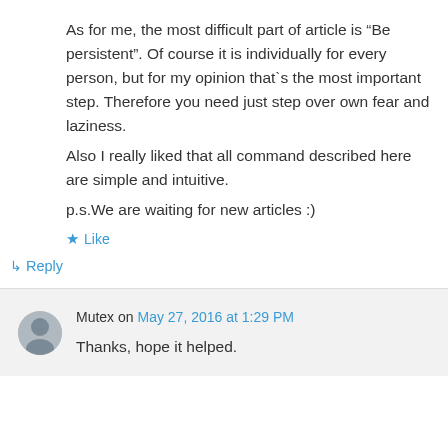As for me, the most difficult part of article is “Be persistent”. Of course it is individually for every person, but for my opinion that`s the most important step. Therefore you need just step over own fear and laziness.
Also I really liked that all command described here are simple and intuitive.

p.s.We are waiting for new articles :)
★ Like
↳ Reply
Mutex on May 27, 2016 at 1:29 PM
Thanks, hope it helped.